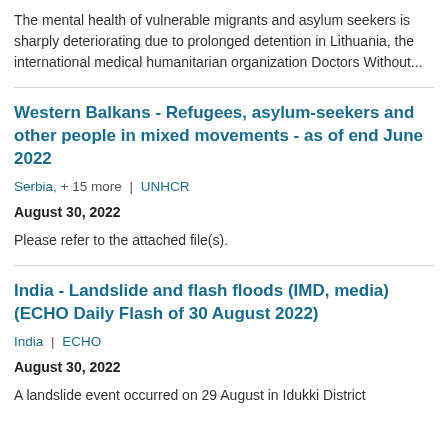The mental health of vulnerable migrants and asylum seekers is sharply deteriorating due to prolonged detention in Lithuania, the international medical humanitarian organization Doctors Without...
Western Balkans - Refugees, asylum-seekers and other people in mixed movements - as of end June 2022
Serbia, + 15 more  |  UNHCR
August 30, 2022
Please refer to the attached file(s).
India - Landslide and flash floods (IMD, media) (ECHO Daily Flash of 30 August 2022)
India  |  ECHO
August 30, 2022
A landslide event occurred on 29 August in Idukki District...